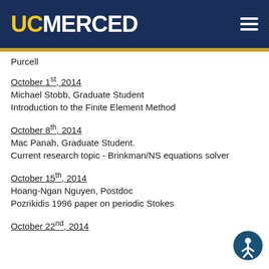UC MERCED
Purcell
October 1st, 2014
Michael Stobb, Graduate Student
Introduction to the Finite Element Method
October 8th, 2014
Mac Panah, Graduate Student.
Current research topic - Brinkman/NS equations solver
October 15th, 2014
Hoang-Ngan Nguyen, Postdoc
Pozrikidis 1996 paper on periodic Stokes
October 22nd, 2014